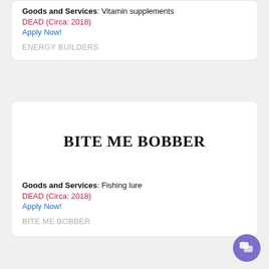Goods and Services: Vitamin supplements
DEAD (Circa: 2018)
Apply Now!
ENERGY BUILDERS
BITE ME BOBBER
Goods and Services: Fishing lure
DEAD (Circa: 2018)
Apply Now!
BITE ME BOBBER